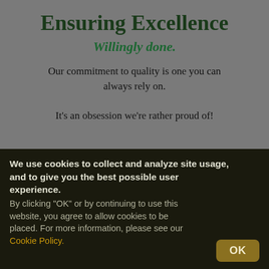Ensuring Excellence
Willingly done.
Our commitment to quality is one you can always rely on.

It's an obsession we're rather proud of!
We use cookies to collect and analyze site usage, and to give you the best possible user experience.
By clicking "OK" or by continuing to use this website, you agree to allow cookies to be placed. For more information, please see our Cookie Policy.